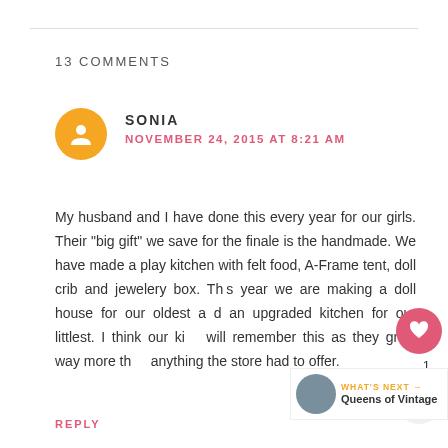13 COMMENTS
SONIA
NOVEMBER 24, 2015 AT 8:21 AM
My husband and I have done this every year for our girls. Their "big gift" we save for the finale is the handmade. We have made a play kitchen with felt food, A-Frame tent, doll crib and jewelery box. This year we are making a doll house for our oldest and an upgraded kitchen for our littlest. I think our kids will remember this as they grow way more than anything the store had to offer.
REPLY